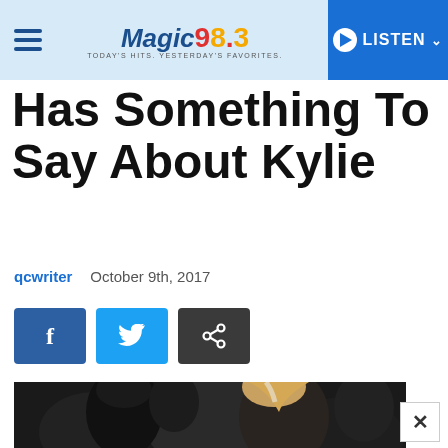MAGIC 98.3 — LISTEN
Has Something To Say About Kylie
qcwriter   October 9th, 2017
[Figure (screenshot): Social share buttons: Facebook (blue), Twitter (light blue), Link (dark gray)]
[Figure (photo): Photo of people in a crowd, including a woman with blonde hair]